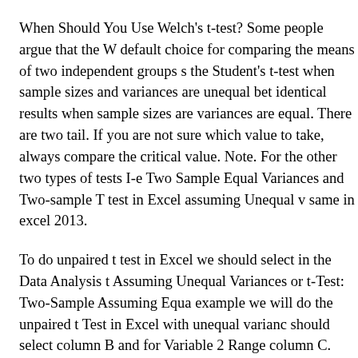When Should You Use Welch's t-test? Some people argue that the W default choice for comparing the means of two independent groups s the Student's t-test when sample sizes and variances are unequal bet identical results when sample sizes are variances are equal. There are two tail. If you are not sure which value to take, always compare the critical value. Note. For the other two types of tests I-e Two Sample Equal Variances and Two-sample T test in Excel assuming Unequal v same in excel 2013.
To do unpaired t test in Excel we should select in the Data Analysis t Assuming Unequal Variances or t-Test: Two-Sample Assuming Equa example we will do the unpaired t Test in Excel with unequal varianc should select column B and for Variable 2 Range column C. 25/01/2( Sample - Difference between assuming equal vs. unequal variance Th variances that most statistical softwares uses, uses the Aspin-Welch ( "estimates" the degrees of freedom. I would recommend you to use W there are equal variances between groups, which you